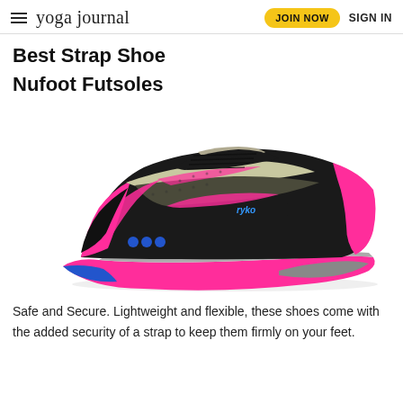yoga journal | JOIN NOW  SIGN IN
Best Strap Shoe
Nufoot Futsoles
[Figure (photo): A black, pink, and gray Ryka athletic sneaker/training shoe with pink sole and blue accent dots, photographed on a white background.]
Safe and Secure. Lightweight and flexible, these shoes come with the added security of a strap to keep them firmly on your feet.